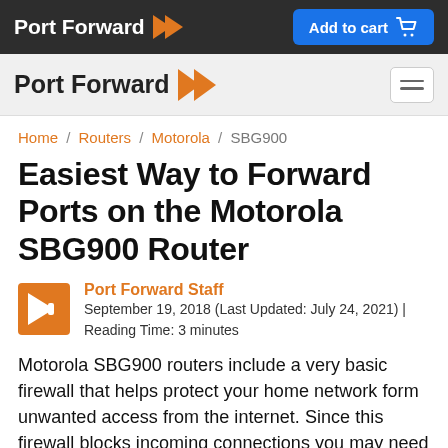Port Forward | Add to cart
Port Forward
Home / Routers / Motorola / SBG900
Easiest Way to Forward Ports on the Motorola SBG900 Router
Port Forward Staff
September 19, 2018 (Last Updated: July 24, 2021) | Reading Time: 3 minutes
Motorola SBG900 routers include a very basic firewall that helps protect your home network form unwanted access from the internet. Since this firewall blocks incoming connections you may need